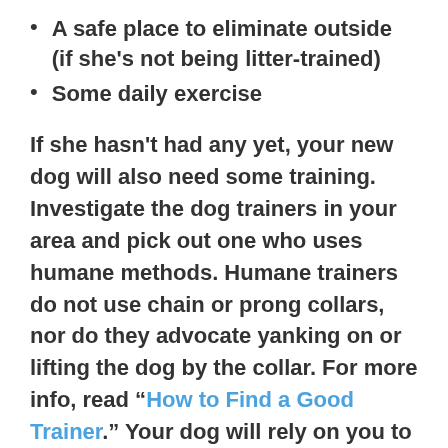A safe place to eliminate outside (if she's not being litter-trained)
Some daily exercise
If she hasn't had any yet, your new dog will also need some training. Investigate the dog trainers in your area and pick out one who uses humane methods. Humane trainers do not use chain or prong collars, nor do they advocate yanking on or lifting the dog by the collar. For more info, read “How to Find a Good Trainer.” Your dog will rely on you to show her the way, so you will also benefit from the training classes. If you don't take this responsibility in